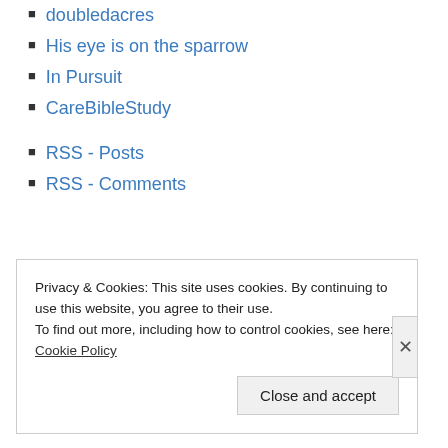doubledacres
His eye is on the sparrow
In Pursuit
CareBibleStudy
RSS - Posts
RSS - Comments
Privacy & Cookies: This site uses cookies. By continuing to use this website, you agree to their use.
To find out more, including how to control cookies, see here: Cookie Policy
Close and accept